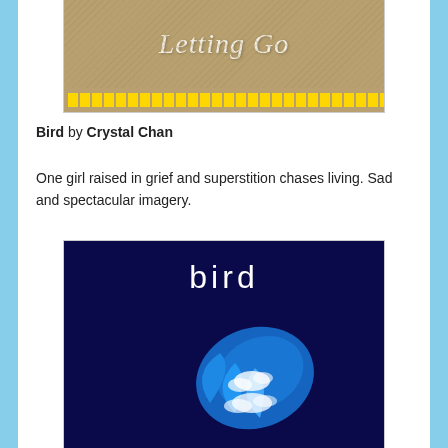[Figure (photo): Book cover for 'Letting Go' with tan/sandy textured background, italic white title text, and a yellow decorative strip along the bottom with small yellow squares.]
Bird by Crystal Chan
One girl raised in grief and superstition chases living. Sad and spectacular imagery.
[Figure (photo): Book cover for 'Bird' by Crystal Chan showing dark navy background with white handwritten-style title 'bird' and a blue stylized bird wing with cloud imagery.]